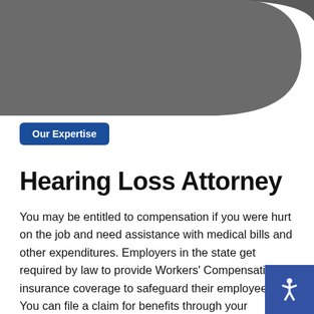[Figure (illustration): Dark grey decorative rounded shape in the top-left corner of the page, serving as a background design element.]
Our Expertise
Hearing Loss Attorney
You may be entitled to compensation if you were hurt on the job and need assistance with medical bills and other expenditures. Employers in the state get required by law to provide Workers' Compensation insurance coverage to safeguard their employees. You can file a claim for benefits through your employer's insurance carrier if you have
[Figure (illustration): Blue square accessibility/wheelchair icon button in the bottom-right corner.]